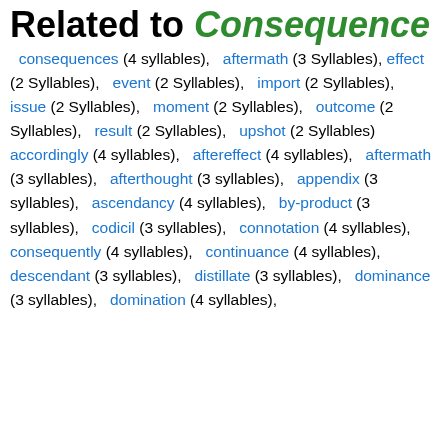Related to Consequence
consequences (4 syllables), aftermath (3 Syllables), effect (2 Syllables), event (2 Syllables), import (2 Syllables), issue (2 Syllables), moment (2 Syllables), outcome (2 Syllables), result (2 Syllables), upshot (2 Syllables) accordingly (4 syllables), aftereffect (4 syllables), aftermath (3 syllables), afterthought (3 syllables), appendix (3 syllables), ascendancy (4 syllables), by-product (3 syllables), codicil (3 syllables), connotation (4 syllables), consequently (4 syllables), continuance (4 syllables), descendant (3 syllables), distillate (3 syllables), dominance (3 syllables), domination (4 syllables),